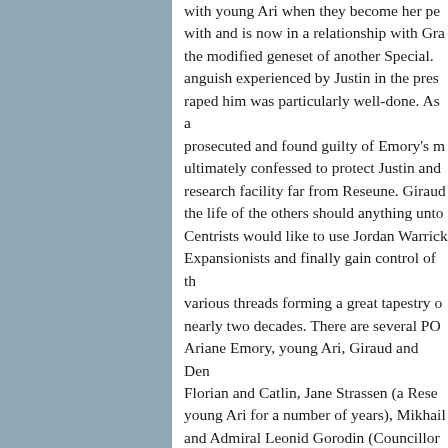with young Ari when they become her pe with and is now in a relationship with Gra the modified geneset of another Special. anguish experienced by Justin in the pres raped him was particularly well-done. As a prosecuted and found guilty of Emory's m ultimately confessed to protect Justin and research facility far from Reseune. Giraud the life of the others should anything unto Centrists would like to use Jordan Warrick Expansionists and finally gain control of th various threads forming a great tapestry o nearly two decades. There are several PO Ariane Emory, young Ari, Giraud and Den Florian and Catlin, Jane Strassen (a Rese young Ari for a number of years), Mikhail and Admiral Leonid Gorodin (Councillor o there are few endearing characters in that greatest accomplishments with this work w cast of often despicable, power-hungry m